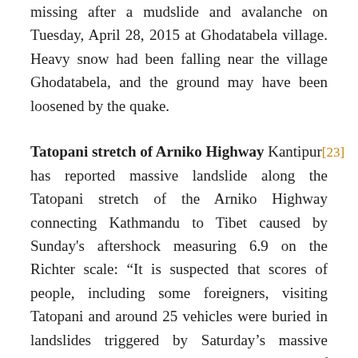missing after a mudslide and avalanche on Tuesday, April 28, 2015 at Ghodatabela village. Heavy snow had been falling near the village Ghodatabela, and the ground may have been loosened by the quake.
Tatopani stretch of Arniko Highway Kantipur[23] has reported massive landslide along the Tatopani stretch of the Arniko Highway connecting Kathmandu to Tibet caused by Sunday's aftershock measuring 6.9 on the Richter scale: “It is suspected that scores of people, including some foreigners, visiting Tatopani and around 25 vehicles were buried in landslides triggered by Saturday’s massive earthquake. According to witnesses, scores of people were buried at Miteripul, Chaku, Jhyalebhir, Nayapur, Daklang Paharo and Jhirpu. “Ten to fifteen people working at caterings and restaurants in Khasa were buried by landslide at Chaku,” said Shyam Shrestha, who witnessed the tragedy. Some buses,